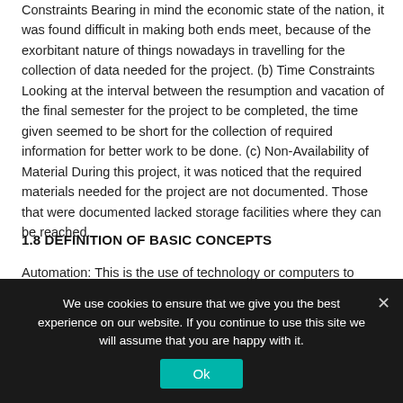Constraints Bearing in mind the economic state of the nation, it was found difficult in making both ends meet, because of the exorbitant nature of things nowadays in travelling for the collection of data needed for the project. (b) Time Constraints Looking at the interval between the resumption and vacation of the final semester for the project to be completed, the time given seemed to be short for the collection of required information for better work to be done. (c) Non-Availability of Material During this project, it was noticed that the required materials needed for the project are not documented. Those that were documented lacked storage facilities where they can be reached.
1.8 DEFINITION OF BASIC CONCEPTS
Automation: This is the use of technology or computers to control and process data reducing the need for human intervention.
We use cookies to ensure that we give you the best experience on our website. If you continue to use this site we will assume that you are happy with it.